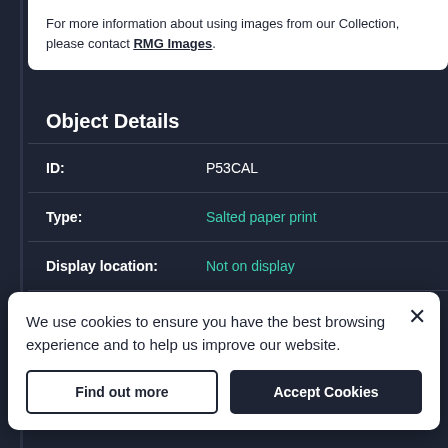For more information about using images from our Collection, please contact RMG Images.
Object Details
| Field | Value |
| --- | --- |
| ID: | P53CAL |
| Type: | Salted paper print |
| Display location: | Not on display |
We use cookies to ensure you have the best browsing experience and to help us improve our website.
Find out more | Accept Cookies